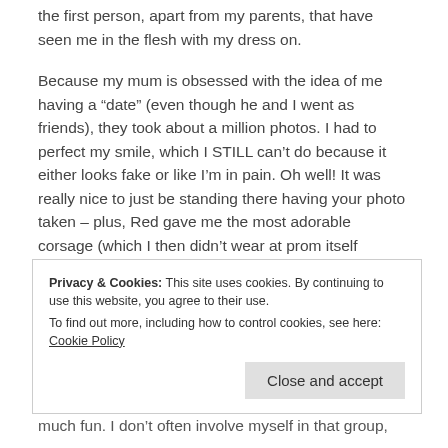the first person, apart from my parents, that have seen me in the flesh with my dress on.
Because my mum is obsessed with the idea of me having a “date” (even though he and I went as friends), they took about a million photos. I had to perfect my smile, which I STILL can’t do because it either looks fake or like I’m in pain. Oh well! It was really nice to just be standing there having your photo taken – plus, Red gave me the most adorable corsage (which I then didn’t wear at prom itself because I’m a dick) but I loved it and it matched my dress and ahh!
Privacy & Cookies: This site uses cookies. By continuing to use this website, you agree to their use.
To find out more, including how to control cookies, see here: Cookie Policy
Close and accept
much fun. I don’t often involve myself in that group,